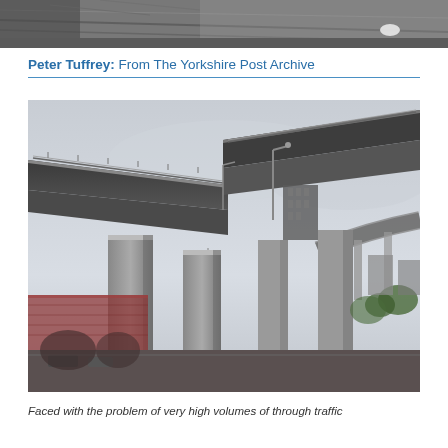[Figure (photo): Black and white photograph showing a road or railway scene viewed from above, partially cropped at top of page]
Peter Tuffrey: From The Yorkshire Post Archive
[Figure (photo): Color photograph taken from below looking up at concrete motorway flyover/interchange with multiple elevated road sections on concrete pillars, overcast sky, urban buildings visible in background]
Faced with the problem of very high volumes of through traffic